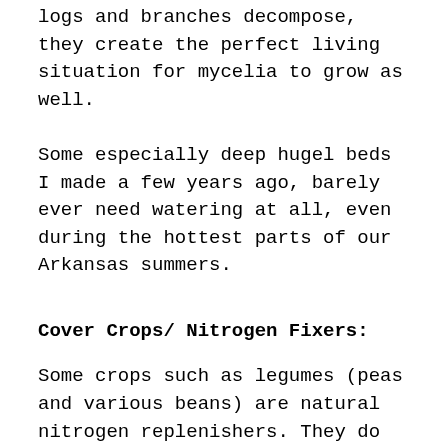logs and branches decompose, they create the perfect living situation for mycelia to grow as well.
Some especially deep hugel beds I made a few years ago, barely ever need watering at all, even during the hottest parts of our Arkansas summers.
Cover Crops/ Nitrogen Fixers:
Some crops such as legumes (peas and various beans) are natural nitrogen replenishers. They do this by taking nitrogen from the atmosphere and making it useable